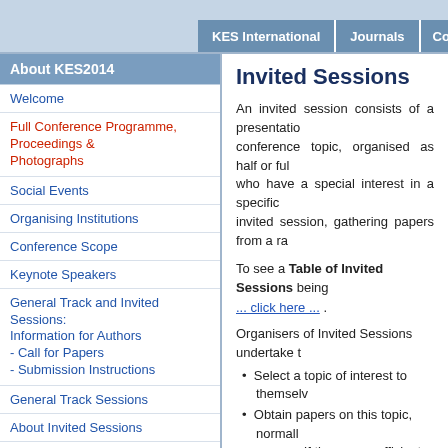KES International | Journals | Confer...
About KES2014
Welcome
Full Conference Programme, Proceedings & Photographs
Social Events
Organising Institutions
Conference Scope
Keynote Speakers
General Track and Invited Sessions: Information for Authors - Call for Papers - Submission Instructions
General Track Sessions
About Invited Sessions
List of Invited Sessions
Workshop on the Analysis of Big Data
Int. Systems Research Progress Workshop
Invited Sessions
An invited session consists of a presentation of a conference topic, organised as half or full... who have a special interest in a specific... invited session, gathering papers from a ra...
To see a Table of Invited Sessions being... ... click here ... .
Organisers of Invited Sessions undertake t...
Select a topic of interest to themselv...
Obtain papers on this topic, normall... more. If there are sufficient papers,
Ensure the papers are submitted th...
Manage the review process for thes...
Provide suitable reviewers for the... PROSE system;
Ensure the final versions of the pap...
Attend the conference and chair the...
To obtain Guidance Notes for Invited Ses...